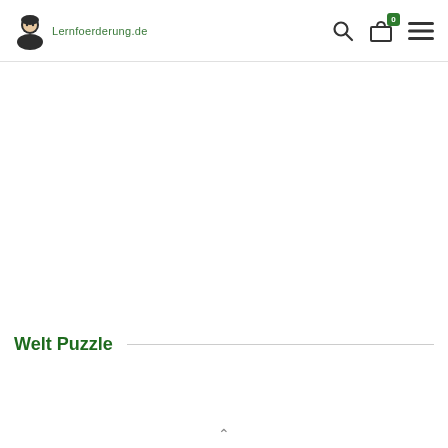Lernfoerderung.de — navigation header with search, cart (0), and menu icons
Welt Puzzle